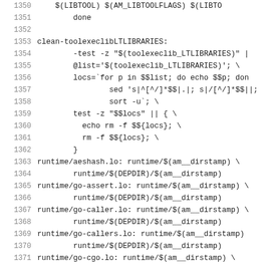1350    $(LIBTOOL) $(AM_LIBTOOLFLAGS) $(LIBTO
1351        done
1352
1353    clean-toolexeclibLTLIBRARIES:
1354            -test -z "$(toolexeclib_LTLIBRARIES)" |
1355            @list='$(toolexeclib_LTLIBRARIES)'; \
1356            locs=`for p in $$list; do echo $$p; don
1357                    sed 's|^[^/]*$$|.|; s|/[^/]*$$||;
1358                    sort -u`; \
1359            test -z "$$locs" || { \
1360              echo rm -f $${locs}; \
1361              rm -f $${locs}; \
1362            }
1363    runtime/aeshash.lo: runtime/$(am__dirstamp) \
1364            runtime/$(DEPDIR)/$(am__dirstamp)
1365    runtime/go-assert.lo: runtime/$(am__dirstamp) \
1366            runtime/$(DEPDIR)/$(am__dirstamp)
1367    runtime/go-caller.lo: runtime/$(am__dirstamp) \
1368            runtime/$(DEPDIR)/$(am__dirstamp)
1369    runtime/go-callers.lo: runtime/$(am__dirstamp)
1370            runtime/$(DEPDIR)/$(am__dirstamp)
1371    runtime/go-cgo.lo: runtime/$(am__dirstamp) \